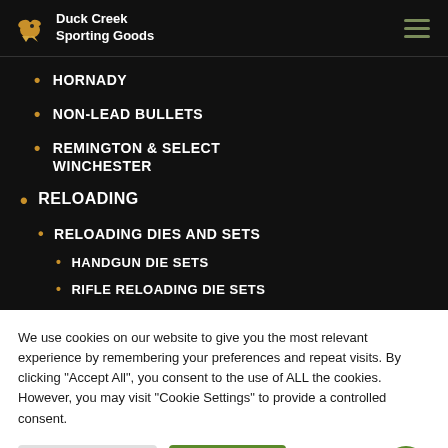Duck Creek Sporting Goods
HORNADY
NON-LEAD BULLETS
REMINGTON & SELECT WINCHESTER
RELOADING
RELOADING DIES AND SETS
HANDGUN DIE SETS
RIFLE RELOADING DIE SETS
We use cookies on our website to give you the most relevant experience by remembering your preferences and repeat visits. By clicking "Accept All", you consent to the use of ALL the cookies. However, you may visit "Cookie Settings" to provide a controlled consent.